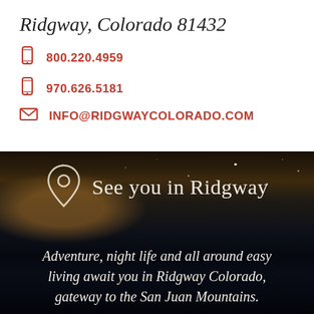Ridgway, Colorado 81432
800.220.4959
970.626.5181
INFO@RIDGWAYCOLORADO.COM
[Figure (illustration): Dark night sky background with mountains silhouette, Milky Way glow, and bright star. Contains a location pin icon and the text 'See you in Ridgway'. Below, italic text reads: Adventure, night life and all around easy living await you in Ridgway Colorado, gateway to the San Juan Mountains.]